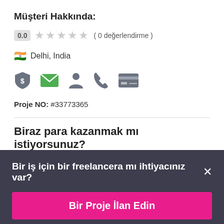Müşteri Hakkında:
0.0  ★★★★★ ( 0 değerlendirme )
🇮🇳 Delhi, India
[Figure (illustration): Row of icons: shield with dollar sign, green envelope, person silhouette, phone handset, credit card]
Proje NO: #33773365
Biraz para kazanmak mı istiyorsunuz?
PROJE KAPALI
Bir iş için bir freelancera mı ihtiyacınız var?
Bir Proje İlan Edin